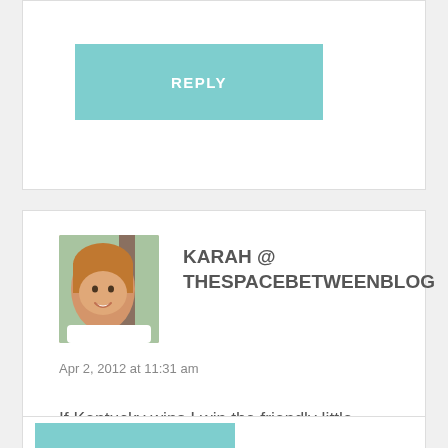REPLY
KARAH @ THESPACEBETWEENBLOG
Apr 2, 2012 at 11:31 am
If Kentucky wins I win the friendly little family bracket contest we started in FL. Go Wildcats!!! And I'm loving the freshy decorating in there...and am with Linda, not at all enticed by the green shake idea, but since she brought it up, am now craving a green beer. :)